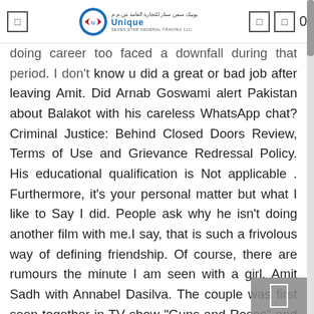Unique Seven Star General Trading LLC
doing career too faced a downfall during that period. I don't know u did a great or bad job after leaving Amit. Did Arnab Goswami alert Pakistan about Balakot with his careless WhatsApp chat? Criminal Justice: Behind Closed Doors Review, Terms of Use and Grievance Redressal Policy. His educational qualification is Not applicable . Furthermore, it's your personal matter but what I like to Say I did. People ask why he isn't doing another film with me.I say, that is such a frivolous way of defining friendship. Of course, there are rumours the minute I am seen with a girl. Amit Sadh with Annabel Dasilva. The couple was first seen together in TV show "Guns and Roses" and later on dance reality show "Nach Baliye" in 2005.The two also got engaged, but broke up in 2010. It's not a normal place to be in. Moving on is right thing, but the man who loves you and u also then you should marry with him not anybody else. However, he left the show in between; as he was missing his then-girlfriend,